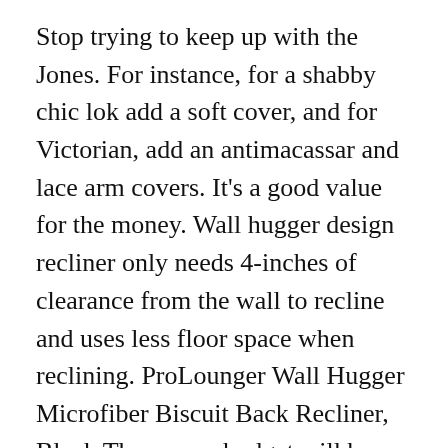Stop trying to keep up with the Jones. For instance, for a shabby chic lok add a soft cover, and for Victorian, add an antimacassar and lace arm covers. It’s a good value for the money. Wall hugger design recliner only needs 4-inches of clearance from the wall to recline and uses less floor space when reclining. ProLounger Wall Hugger Microfiber Biscuit Back Recliner, Black Those on a budget will be pleased to discover this wall hugger recliner that only needs 4” of wall clearance for reclining. Just wipe it down as needed. If you have little space available, an are looking for a comfortable reclining seat set for your home or flat, this is the perfect two set. Very affordably priced so you can get two or more